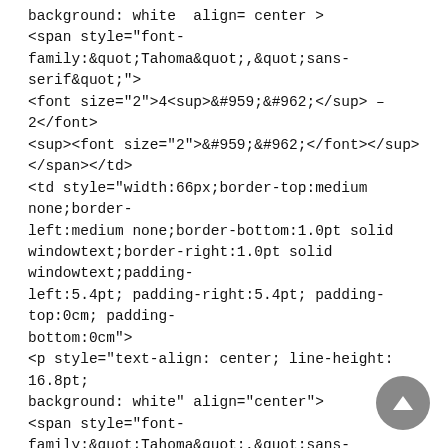background: white  align= center >
<span style="font-family:&quot;Tahoma&quot;,&quot;sans-serif&quot;">
<font size="2">4<sup>&#959;&#962;</sup> – 2</font>
<sup><font size="2">&#959;&#962;</font></sup>
</span></td>
<td style="width:66px;border-top:medium none;border-left:medium none;border-bottom:1.0pt solid windowtext;border-right:1.0pt solid windowtext;padding-left:5.4pt; padding-right:5.4pt; padding-top:0cm; padding-bottom:0cm">
<p style="text-align: center; line-height: 16.8pt; background: white" align="center">
<span style="font-family:&quot;Tahoma&quot;,&quot;sans-serif&quot;">
<font size="2">1<sup>&#959;&#962;</sup> – 6</font>
<sup><font size="2">&#959;&#962;</font></sup>
</span></td>
<td style="width:66px;border-top:medium none;border-